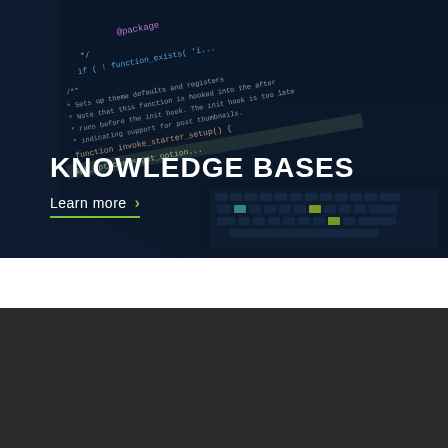[Figure (screenshot): Dark-themed code editor screenshot showing PHP/JavaScript code with blue background and keyboard, overlaid with 'KNOWLEDGE BASES' heading and 'Learn more' link]
KNOWLEDGE BASES
Learn more ›
[Figure (logo): ITVortex logo with angular V icon in blue and green, text 'ITVortex' with tagline 'SIMPLIFY. PROTECT. EVOLVE.']
info@theitvortex.com
+1 (844) 704-0684